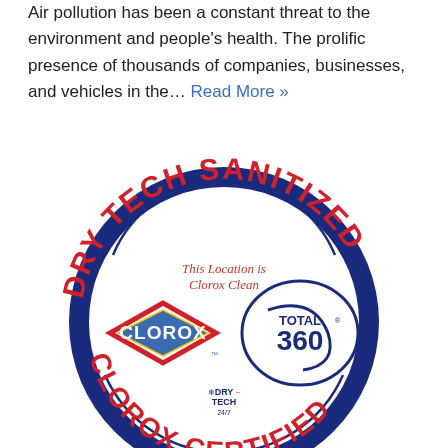Air pollution has been a constant threat to the environment and people's health. The prolific presence of thousands of companies, businesses, and vehicles in the… Read More »
[Figure (logo): Dry Tech Sanitized circular badge with Clorox Total 360 certification logo. Outer dark blue ring with red 'DRY TECH SANITIZED' text arcing at the top and 'CLOROX CERTIFIED' text arcing at the bottom. Interior shows 'This Location is Clorox Clean' text, the Clorox diamond logo, Total 360 swirl logo, and Dry Tech 24/7 logo.]